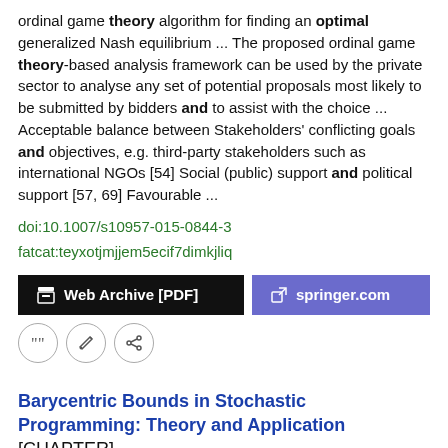ordinal game theory algorithm for finding an optimal generalized Nash equilibrium  ...  The proposed ordinal game theory-based analysis framework can be used by the private sector to analyse any set of potential proposals most likely to be submitted by bidders and to assist with the choice  ...  Acceptable balance between Stakeholders' conflicting goals and objectives, e.g. third-party stakeholders such as international NGOs [54] Social (public) support and political support [57, 69] Favourable  ...
doi:10.1007/s10957-015-0844-3
fatcat:teyxotjmjjem5ecif7dimkjliq
[Figure (other): Two buttons: 'Web Archive [PDF]' (dark/black background) and 'springer.com' (purple background), followed by three icon buttons (quote, edit, link).]
Barycentric Bounds in Stochastic Programming: Theory and Application [CHAPTER]
Karl Frauendorfer, Daniel Kuhn, Michael Schürle
2010 International Series in Operations Research and Management Science
To this end, we solve a stochastic optimization model for the